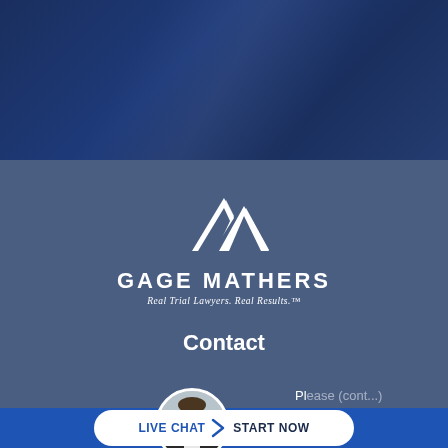[Figure (illustration): Dark navy blue gradient banner at top of page with diagonal light reflection]
[Figure (logo): Gage Mathers law firm logo: white geometric mountain/triangle icon above text 'GAGE MATHERS' and tagline 'Real Trial Lawyers. Real Results.™']
Contact
[Figure (photo): Circular avatar photo of a man in a suit, partially visible at the bottom of the page]
Pl...
LIVE CHAT  START NOW